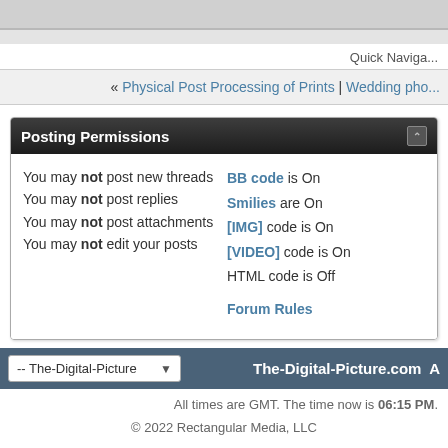Quick Naviga...
« Physical Post Processing of Prints | Wedding pho...
Posting Permissions
You may not post new threads
You may not post replies
You may not post attachments
You may not edit your posts
BB code is On
Smilies are On
[IMG] code is On
[VIDEO] code is On
HTML code is Off
Forum Rules
-- The-Digital-Picture   The-Digital-Picture.com A...
All times are GMT. The time now is 06:15 PM.
© 2022 Rectangular Media, LLC